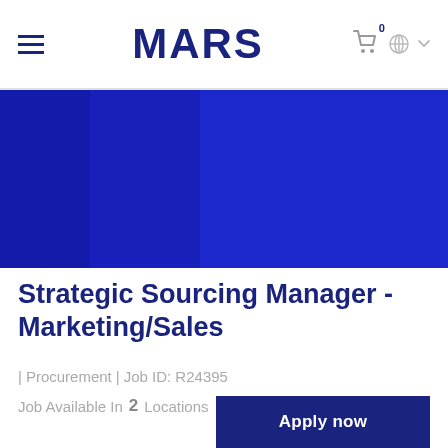MARS
[Figure (photo): Dark blue hero banner image for Mars careers page]
Strategic Sourcing Manager - Marketing/Sales
| Procurement | Job ID: R24395
Job Available In   2   Locations
Apply now